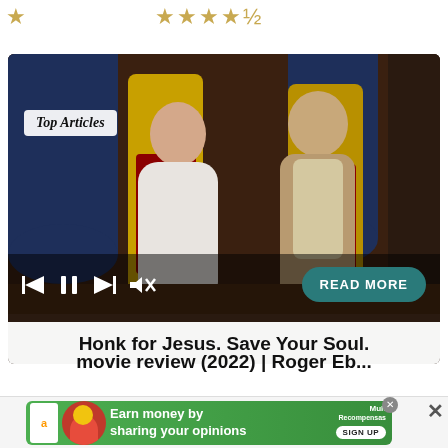[Figure (other): Partial gold star icon (top left)]
[Figure (other): 3.5 out of 5 gold star rating (top center)]
[Figure (photo): Movie still from Honk for Jesus. Save Your Soul. showing two actors in ornate gold thrones in a church-like setting. A 'Top Articles' badge is overlaid. Media player controls (back, pause, forward, mute) and a 'READ MORE' button are visible.]
Honk for Jesus. Save Your Soul. movie review (2022) | Roger Eb...
[Figure (other): Advertisement banner: Earn money by sharing your opinions — Amazon/MultRecompensas ad with green background and SIGN UP button]